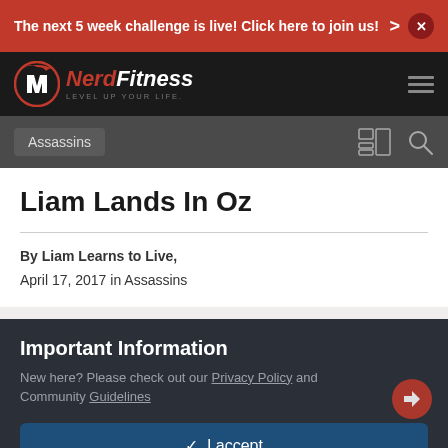The next 5 week challenge is live! Click here to join us!
[Figure (logo): NerdFitness logo with circular NF emblem and tagline LEVEL UP YOUR LIFE]
Assassins
Liam Lands In Oz
By Liam Learns to Live, April 17, 2017 in Assassins
Important Information
New here? Please check out our Privacy Policy and Community Guidelines
✓ I accept